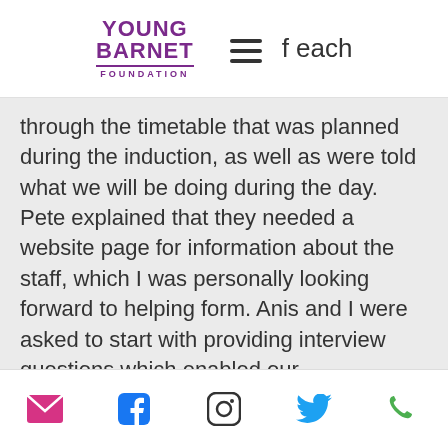YOUNG BARNET FOUNDATION
through the timetable that was planned during the induction, as well as were told what we will be doing during the day. Pete explained that they needed a website page for information about the staff, which I was personally looking forward to helping form. Anis and I were asked to start with providing interview questions which enabled our communication skills as well teamwork skills.
Throughout the interview with Janet, I noticed she is very fond of her team
social media icons: email, facebook, instagram, twitter, phone